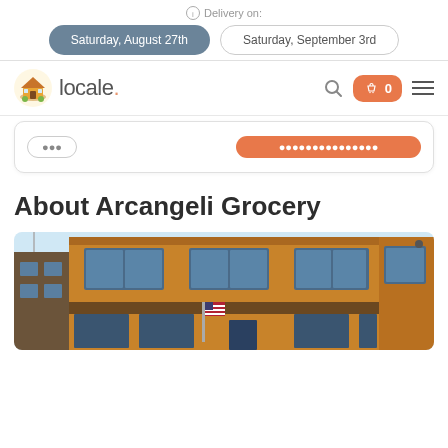Delivery on:
Saturday, August 27th
Saturday, September 3rd
[Figure (logo): Locale grocery delivery app logo with an illustrated house/basket icon and the text 'locale.' in gray]
About Arcangeli Grocery
[Figure (photo): Exterior photo of Arcangeli Grocery building - a two-story orange/tan brick building with dark window frames and an American flag displayed at the entrance]